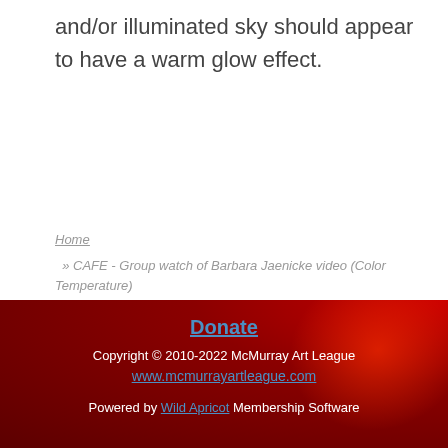and/or illuminated sky should appear to have a warm glow effect.
Home
» CAFE - Group watch of Barbara Jaenicke video (Color Temperature)
Donate
Copyright © 2010-2022 McMurray Art League
www.mcmurrayartleague.com
Powered by Wild Apricot Membership Software